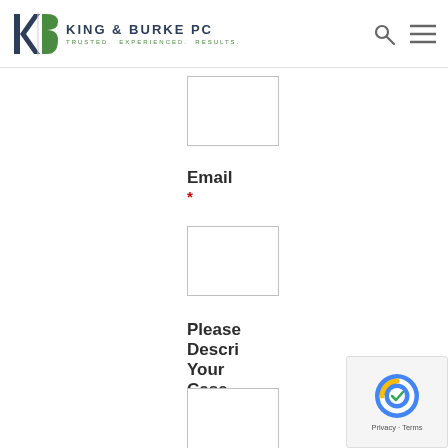KING & BURKE PC — TRUSTED. EXPERIENCED. RESULTS.
Email *
Please Describe Your Case *